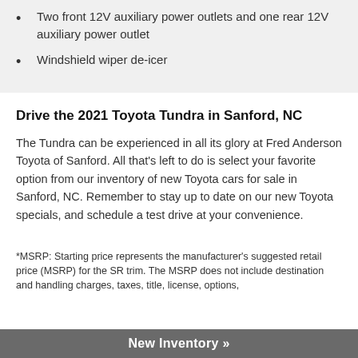Two front 12V auxiliary power outlets and one rear 12V auxiliary power outlet
Windshield wiper de-icer
Drive the 2021 Toyota Tundra in Sanford, NC
The Tundra can be experienced in all its glory at Fred Anderson Toyota of Sanford. All that's left to do is select your favorite option from our inventory of new Toyota cars for sale in Sanford, NC. Remember to stay up to date on our new Toyota specials, and schedule a test drive at your convenience.
*MSRP: Starting price represents the manufacturer's suggested retail price (MSRP) for the SR trim. The MSRP does not include destination and handling charges, taxes, title, license, options,
New Inventory »